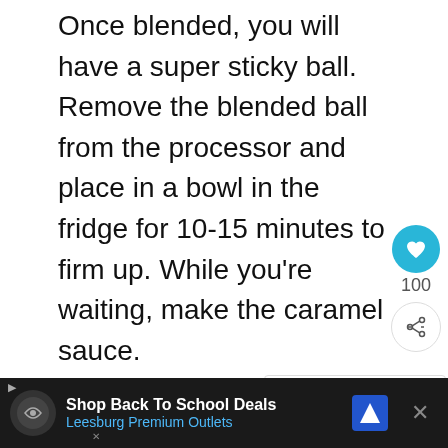Once blended, you will have a super sticky ball. Remove the blended ball from the processor and place in a bowl in the fridge for 10-15 minutes to firm up. While you're waiting, make the caramel sauce.
Once the dough “sets” and is firm to touch, place some oil onto your hands (to prevent sticking) and roll the mixture into 1-1.5 inch balls with your hands. Place on parchment paper. Drizzle with caramel sauce.
Serve immediately or place in an air tight
[Figure (other): Social sharing sidebar with heart/save button showing 100 saves, and a share button]
[Figure (other): What's Next panel showing a food image thumbnail with text 'Healthy Chocolate...']
[Figure (other): Advertisement banner: Shop Back To School Deals - Leesburg Premium Outlets]